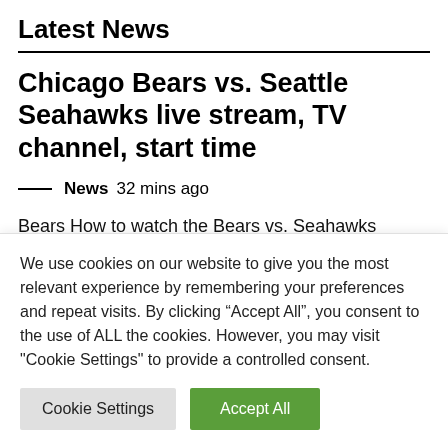Latest News
Chicago Bears vs. Seattle Seahawks live stream, TV channel, start time
— News 32 mins ago
Bears How to watch the Bears vs. Seahawks game: live stream, TV channel, and start time Bears The Chicago Bears will take the field just five days…
We use cookies on our website to give you the most relevant experience by remembering your preferences and repeat visits. By clicking "Accept All", you consent to the use of ALL the cookies. However, you may visit "Cookie Settings" to provide a controlled consent.